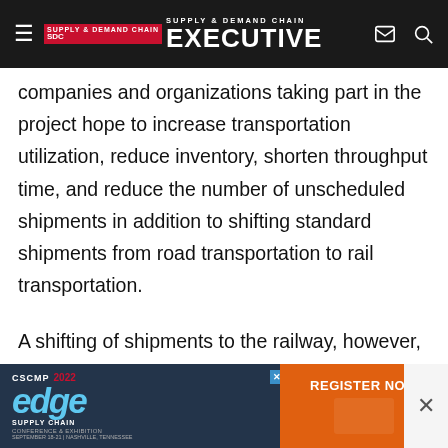Supply & Demand Chain Executive
companies and organizations taking part in the project hope to increase transportation utilization, reduce inventory, shorten throughput time, and reduce the number of unscheduled shipments in addition to shifting standard shipments from road transportation to rail transportation.
A shifting of shipments to the railway, however, is associated with certain risks, for example disturbances in the production sequence. “With distribution-oriented production planning and sequencing, the processes of production ... at we hardly ha... le event
[Figure (screenshot): CSCMP 2022 Edge Supply Chain Conference & Exhibition advertisement banner with Register Now button in orange]